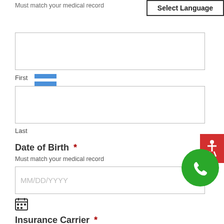Must match your medical record
Select Language
First
Last
Date of Birth *
Must match your medical record
MM/DD/YYYY
Insurance Carrier *
Must match your medical record
Enter the name of your health insurance carrier
0 of 250 max characters